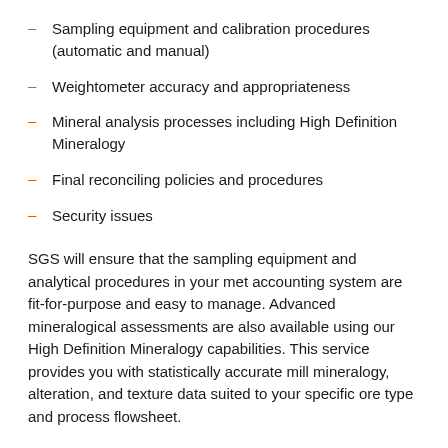Sampling equipment and calibration procedures (automatic and manual)
Weightometer accuracy and appropriateness
Mineral analysis processes including High Definition Mineralogy
Final reconciling policies and procedures
Security issues
SGS will ensure that the sampling equipment and analytical procedures in your met accounting system are fit-for-purpose and easy to manage. Advanced mineralogical assessments are also available using our High Definition Mineralogy capabilities. This service provides you with statistically accurate mill mineralogy, alteration, and texture data suited to your specific ore type and process flowsheet.